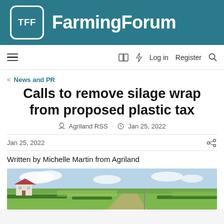TFF FarmingForum
≡  □ ⚡ Log in  Register  🔍
< News and PR
Calls to remove silage wrap from proposed plastic tax
Agriland RSS · Jan 25, 2022
Jan 25, 2022
Written by Michelle Martin from Agriland
[Figure (photo): Countryside landscape photo showing green fields, hedgerows, a road, and a farmhouse under a partly cloudy sky]